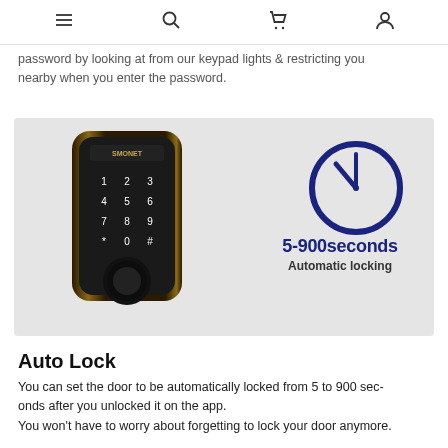Navigation bar with hamburger menu, search, cart, and user icons
password by looking at from our keypad lights & restricting you nearby when you enter the password.
[Figure (photo): Smart door lock keypad with touchscreen number pad (1-9, *, 0, #) and round knob, shown next to a clock icon labeled '5-900seconds Automatic locking' on a light gray background]
Auto Lock
You can set the door to be automatically locked from 5 to 900 seconds after you unlocked it on the app.
You won't have to worry about forgetting to lock your door anymore.